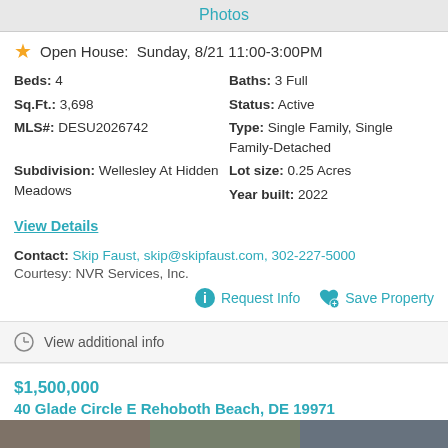Photos
Open House: Sunday, 8/21 11:00-3:00PM
Beds: 4
Baths: 3 Full
Sq.Ft.: 3,698
Status: Active
MLS#: DESU2026742
Type: Single Family, Single Family-Detached
Subdivision: Wellesley At Hidden Meadows
Lot size: 0.25 Acres
Year built: 2022
View Details
Contact: Skip Faust, skip@skipfaust.com, 302-227-5000
Courtesy: NVR Services, Inc.
Request Info
Save Property
View additional info
$1,500,000
40 Glade Circle E Rehoboth Beach, DE 19971